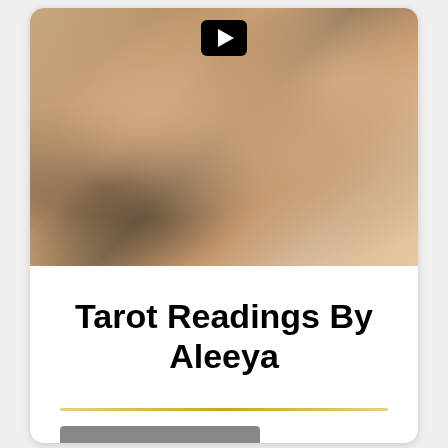[Figure (photo): A couple in an intimate pose; one person kisses the other's neck/cheek while the other lies back. A video play button is visible at the top center of the image.]
Tarot Readings By Aleeya